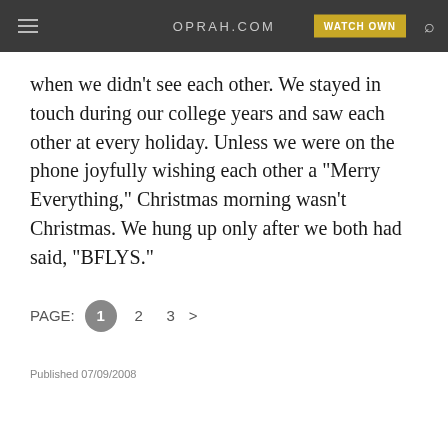OPRAH.COM  WATCH OWN
when we didn't see each other. We stayed in touch during our college years and saw each other at every holiday. Unless we were on the phone joyfully wishing each other a "Merry Everything," Christmas morning wasn't Christmas. We hung up only after we both had said, "BFLYS."
PAGE: 1 2 3 >
Published 07/09/2008